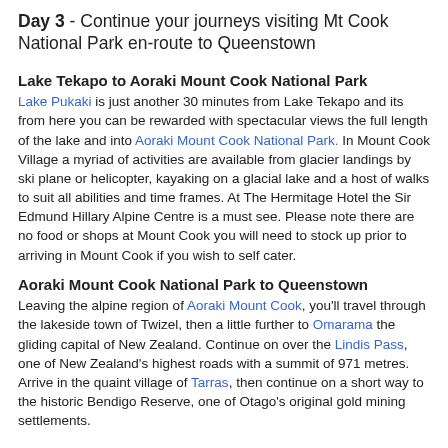Day 3 - Continue your journeys visiting Mt Cook National Park en-route to Queenstown
Lake Tekapo to Aoraki Mount Cook National Park
Lake Pukaki is just another 30 minutes from Lake Tekapo and its from here you can be rewarded with spectacular views the full length of the lake and into Aoraki Mount Cook National Park. In Mount Cook Village a myriad of activities are available from glacier landings by ski plane or helicopter, kayaking on a glacial lake and a host of walks to suit all abilities and time frames. At The Hermitage Hotel the Sir Edmund Hillary Alpine Centre is a must see. Please note there are no food or shops at Mount Cook you will need to stock up prior to arriving in Mount Cook if you wish to self cater.
Aoraki Mount Cook National Park to Queenstown
Leaving the alpine region of Aoraki Mount Cook, you'll travel through the lakeside town of Twizel, then a little further to Omarama the gliding capital of New Zealand. Continue on over the Lindis Pass, one of New Zealand's highest roads with a summit of 971 metres. Arrive in the quaint village of Tarras, then continue on a short way to the historic Bendigo Reserve, one of Otago's original gold mining settlements.